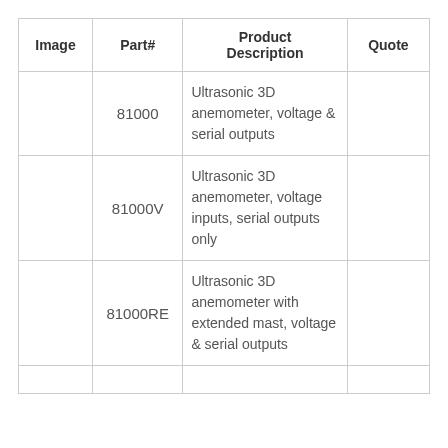| Image | Part# | Product Description | Quote |
| --- | --- | --- | --- |
|  | 81000 | Ultrasonic 3D anemometer, voltage & serial outputs |  |
|  | 81000V | Ultrasonic 3D anemometer, voltage inputs, serial outputs only |  |
|  | 81000RE | Ultrasonic 3D anemometer with extended mast, voltage & serial outputs |  |
|  |  |  |  |